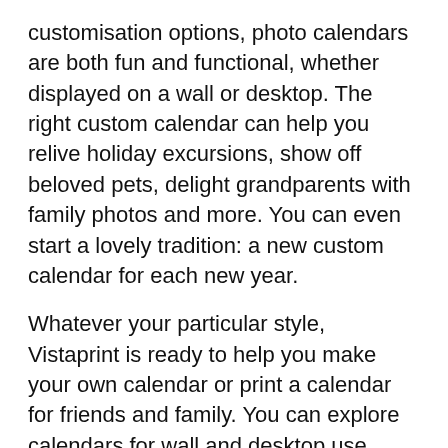customisation options, photo calendars are both fun and functional, whether displayed on a wall or desktop. The right custom calendar can help you relive holiday excursions, show off beloved pets, delight grandparents with family photos and more. You can even start a lovely tradition: a new custom calendar for each new year.
Whatever your particular style, Vistaprint is ready to help you make your own calendar or print a calendar for friends and family. You can explore calendars for wall and desktop use, each with an assortment of decoration options and custom accents. We'll guide you through the creation process with our intuitive design studio, where you can upload all of your favourite photos, label special dates and more. And if you need a hand at any step of the way, our expert designers will be ready to offer help or advice.